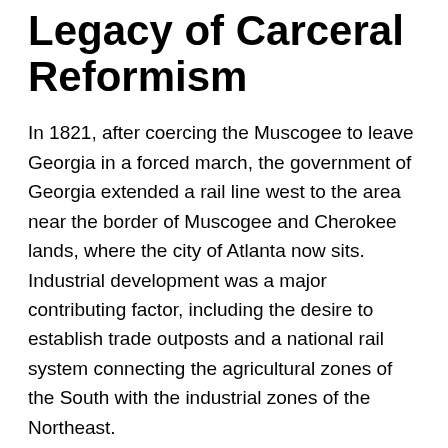Legacy of Carceral Reformism
In 1821, after coercing the Muscogee to leave Georgia in a forced march, the government of Georgia extended a rail line west to the area near the border of Muscogee and Cherokee lands, where the city of Atlanta now sits. Industrial development was a major contributing factor, including the desire to establish trade outposts and a national rail system connecting the agricultural zones of the South with the industrial zones of the Northeast.
Using labor and infrastructure from neighboring Decatur, which had been established in 1822 following the seizure of Muscogee territory, residents and businesses rapidly expanded around the